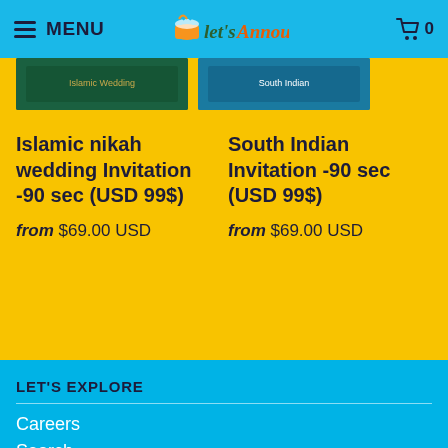MENU | Let's Announce | 0
[Figure (photo): Two product thumbnail images partially visible at top of yellow section]
Islamic nikah wedding Invitation -90 sec (USD 99$)
from $69.00 USD
South Indian Invitation -90 sec (USD 99$)
from $69.00 USD
LET'S EXPLORE
Careers
Search
Privacy Policy
Terms & Conditions